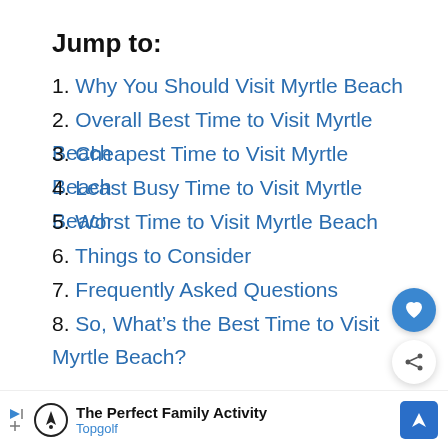Jump to:
1. Why You Should Visit Myrtle Beach
2. Overall Best Time to Visit Myrtle Beach
3. Cheapest Time to Visit Myrtle Beach
4. Least Busy Time to Visit Myrtle Beach
5. Worst Time to Visit Myrtle Beach
6. Things to Consider
7. Frequently Asked Questions
8. So, What’s the Best Time to Visit Myrtle Beach?
Myrtle Beach is a favorite summer getaway in South Carolina for thousands of travelers every ye...e m...ty
[Figure (screenshot): WHAT'S NEXT arrow label with thumbnail image and text: Is Las Vegas Safe? | Trav...]
[Figure (screenshot): Advertisement bar: The Perfect Family Activity - Topgolf, with Topgolf logo and navigation icon]